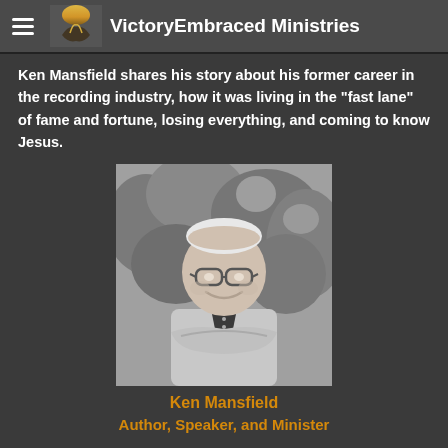VictoryEmbraced Ministries
Ken Mansfield shares his story about his former career in the recording industry, how it was living in the "fast lane" of fame and fortune, losing everything, and coming to know Jesus.
[Figure (photo): Black and white portrait photo of Ken Mansfield, an older man smiling, wearing glasses and a button-up shirt with arms crossed, outdoors with foliage in the background.]
Ken Mansfield
Author, Speaker, and Minister